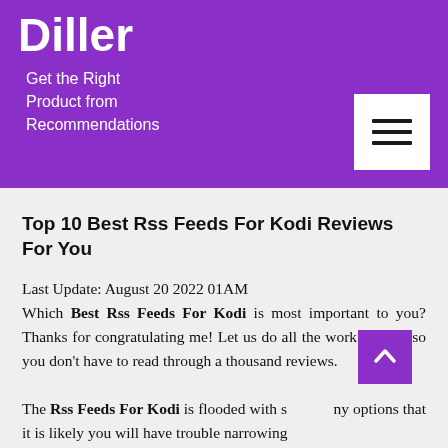Diller
Get the Right Product from Recommendations
Top 10 Best Rss Feeds For Kodi Reviews For You
Last Update: August 20 2022 01AM
Which Best Rss Feeds For Kodi is most important to you? Thanks for congratulating me! Let us do all the work for you so you don't have to read through a thousand reviews.

The Rss Feeds For Kodi is flooded with so many options that it is likely you will have trouble narrowing
[Figure (other): Hamburger menu icon button in white square on purple header background]
[Figure (other): Back to top arrow button in purple square at bottom right]